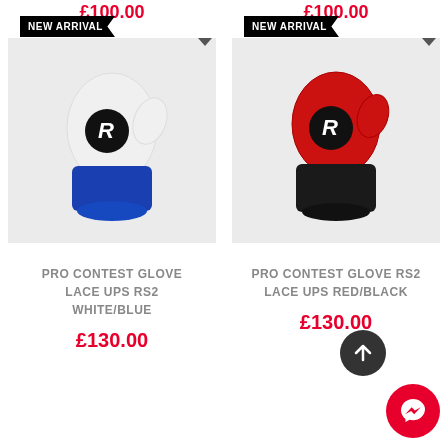£100.00
£100.00
[Figure (photo): White and blue boxing glove with Ringside R logo, displayed against light grey background, with NEW ARRIVAL badge]
[Figure (photo): Red and black boxing glove with Ringside R logo, displayed against light grey background, with NEW ARRIVAL badge]
PRO CONTEST GLOVE LACE UPS RS2 WHITE/BLUE
PRO CONTEST GLOVE RS2 LACE UPS RED/BLACK
£130.00
£130.00